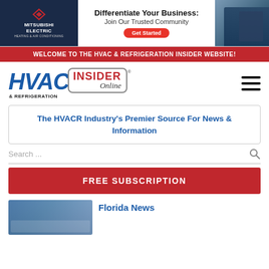[Figure (infographic): Mitsubishi Electric Heating & Air Conditioning advertisement banner. Left: dark navy background with Mitsubishi diamond logo and company name. Center: 'Differentiate Your Business: Join Our Trusted Community' with red 'Get Started' button. Right: photo of technician working.]
WELCOME TO THE HVAC & REFRIGERATION INSIDER WEBSITE!
[Figure (logo): HVAC & Refrigeration Insider Online logo. Blue bold italic HVAC text, red INSIDER stamp in rounded rectangle border, cursive Online text, & REFRIGERATION below.]
The HVACR Industry's Premier Source For News & Information
Search ...
FREE SUBSCRIPTION
Florida News